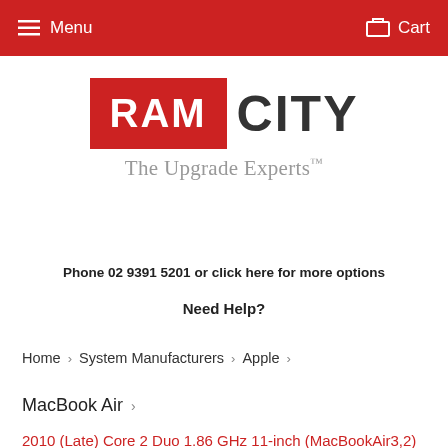Menu  Cart
[Figure (logo): RAM CITY logo with red background for RAM and dark text for CITY, tagline: The Upgrade Experts™]
Phone 02 9391 5201 or click here for more options
Need Help?
Home › System Manufacturers › Apple ›
MacBook Air ›
2010 (Late) Core 2 Duo 1.86 GHz 11-inch (MacBookAir3,2)